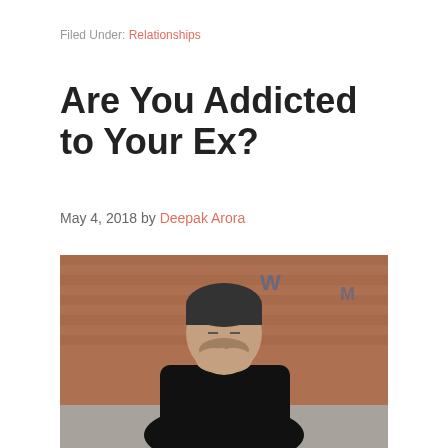Filed Under: Relationships
Are You Addicted to Your Ex?
May 4, 2018 by Deepak Arora
[Figure (photo): A man wearing a black sweater sits outdoors against a brick wall with graffiti, leaning forward with his hands clasped together and eyes closed, appearing distressed or contemplative.]